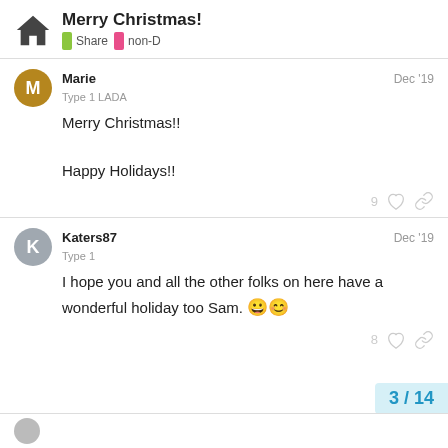Merry Christmas! | Share | non-D
Marie
Type 1 LADA
Dec '19
Merry Christmas!!

Happy Holidays!!
Katers87
Type 1
Dec '19
I hope you and all the other folks on here have a wonderful holiday too Sam. 😀😊